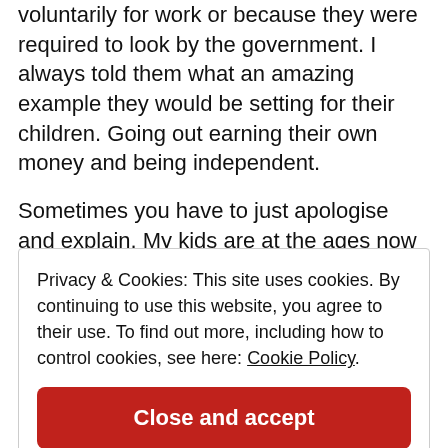voluntarily for work or because they were required to look by the government. I always told them what an amazing example they would be setting for their children. Going out earning their own money and being independent.
Sometimes you have to just apologise and explain. My kids are at the ages now (almost 5, 8 & 9) where if I lose my s*$t they look at me like 🟡 It's always important to be honest with
Privacy & Cookies: This site uses cookies. By continuing to use this website, you agree to their use. To find out more, including how to control cookies, see here: Cookie Policy
Close and accept